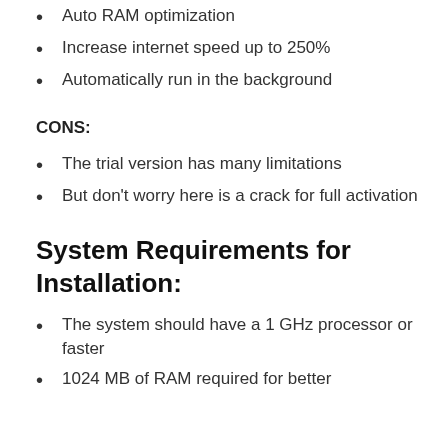Auto RAM optimization
Increase internet speed up to 250%
Automatically run in the background
CONS:
The trial version has many limitations
But don't worry here is a crack for full activation
System Requirements for Installation:
The system should have a 1 GHz processor or faster
1024 MB of RAM required for better